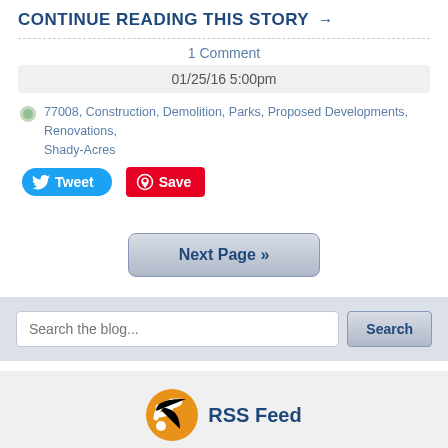CONTINUE READING THIS STORY →
1 Comment
01/25/16 5:00pm
77008, Construction, Demolition, Parks, Proposed Developments, Renovations, Shady-Acres
[Figure (other): Tweet and Save (Pinterest) social media buttons]
[Figure (other): Next Page >> navigation button]
Search the blog...
[Figure (other): RSS Feed icon with orange WiFi-style symbol]